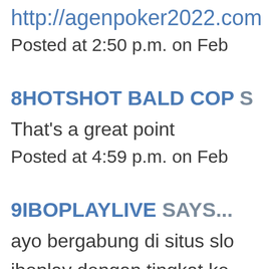http://agenpoker2022.com
Posted at 2:50 p.m. on Feb
8HOTSHOT BALD COP SAYS...
That's a great point
Posted at 4:59 p.m. on Feb
9IBOPLAYLIVE SAYS...
ayo bergabung di situs slo
iboplay dengan tingkat ke